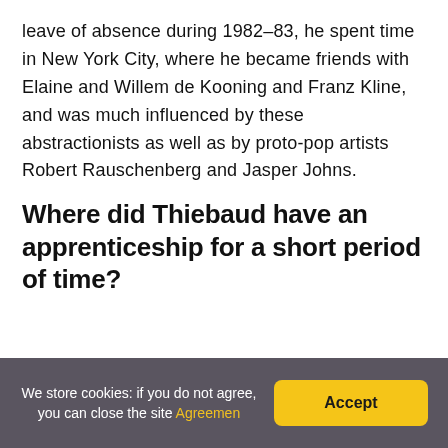leave of absence during 1982–83, he spent time in New York City, where he became friends with Elaine and Willem de Kooning and Franz Kline, and was much influenced by these abstractionists as well as by proto-pop artists Robert Rauschenberg and Jasper Johns.
Where did Thiebaud have an apprenticeship for a short period of time?
We store cookies: if you do not agree, you can close the site Agreemen  Accept